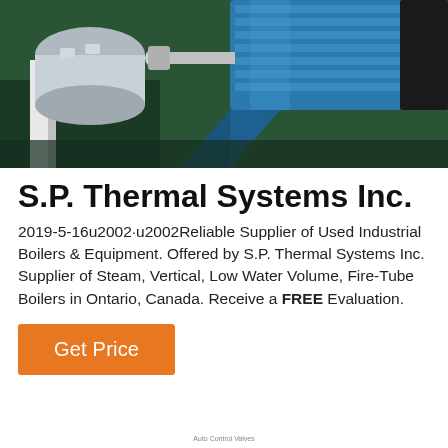[Figure (photo): Industrial photo of a blue electric motor/pump unit on a dark green surface, with metallic silver components visible on the left side.]
S.P. Thermal Systems Inc.
2019-5-16u2002·u2002Reliable Supplier of Used Industrial Boilers & Equipment. Offered by S.P. Thermal Systems Inc. Supplier of Steam, Vertical, Low Water Volume, Fire-Tube Boilers in Ontario, Canada. Receive a FREE Evaluation.
Get Price
Auto Control Valves